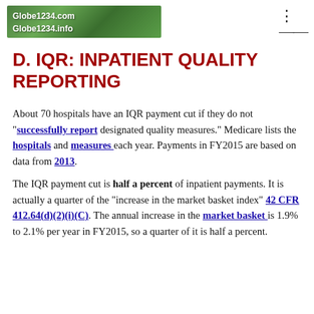Globe1234.com Globe1234.info
D. IQR: INPATIENT QUALITY REPORTING
About 70 hospitals have an IQR payment cut if they do not "successfully report" designated quality measures." Medicare lists the hospitals and measures each year. Payments in FY2015 are based on data from 2013.
The IQR payment cut is half a percent of inpatient payments. It is actually a quarter of the "increase in the market basket index" 42 CFR 412.64(d)(2)(i)(C). The annual increase in the market basket is 1.9% to 2.1% per year in FY2015, so a quarter of it is half a percent.